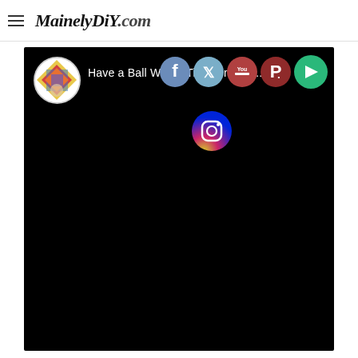MainelyDIY.com
[Figure (screenshot): YouTube-style video embed with black background showing 'Have a Ball Winter Time Greetin...' title, profile icon, and social media icons (Facebook, Twitter, YouTube, Pinterest, share button, Instagram)]